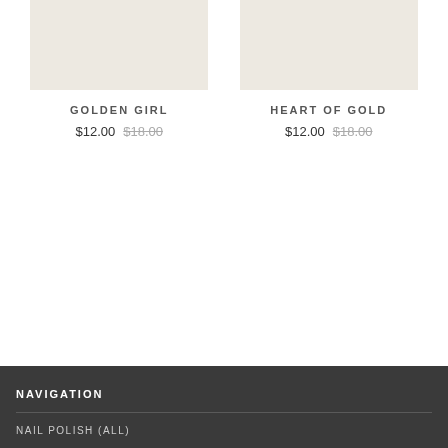[Figure (photo): Product image placeholder for Golden Girl nail polish, light beige/cream color swatch]
GOLDEN GIRL
$12.00  $18.00
[Figure (photo): Product image placeholder for Heart of Gold nail polish, light beige/cream color swatch]
HEART OF GOLD
$12.00  $18.00
NAVIGATION
NAIL POLISH (ALL)